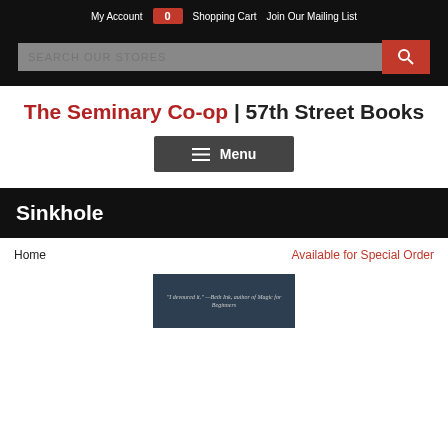My Account  0  Shopping Cart  Join Our Mailing List
[Figure (screenshot): Search bar with text 'SEARCH OUR STORES' and red search button with magnifying glass icon]
The Seminary Co-op | 57th Street Books
[Figure (infographic): Dark grey Menu button with hamburger icon lines]
Sinkhole
Home
Available for Special Order
[Figure (photo): Book cover image showing quote: 'I devoured it.' —Beth Ink, author of Magic for Beginners on dark background]